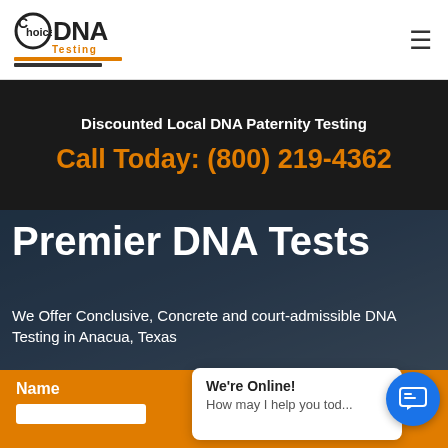[Figure (logo): Choice DNA Testing logo with circular C, bold DNA text, orange Testing tagline, and orange/dark underlines]
≡
Discounted Local DNA Paternity Testing
Call Today: (800) 219-4362
Premier DNA Tests
We Offer Conclusive, Concrete and court-admissible DNA Testing in Anacua, Texas
Name
We're Online!
How may I help you tod...